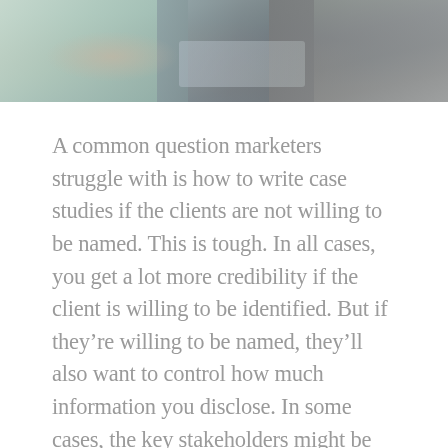[Figure (photo): Partial view of a business meeting or handshake scene — two people at a table with a laptop visible, cropped to show hands/arms and torsos]
A common question marketers struggle with is how to write case studies if the clients are not willing to be named. This is tough. In all cases, you get a lot more credibility if the client is willing to be identified. But if they're willing to be named, they'll also want to control how much information you disclose. In some cases, the key stakeholders might be willing to help, but the corporate communications department won't approve the use of their brand or allow you to quote anyone. So how do you work